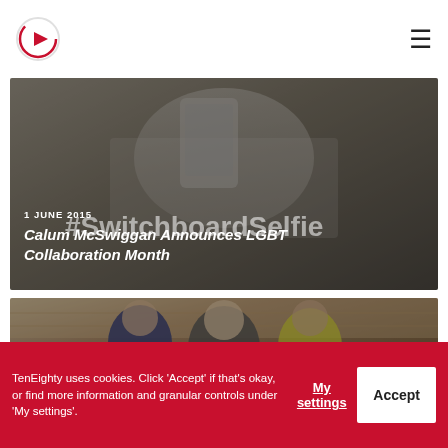TenEighty logo and navigation menu
[Figure (photo): Article card with dark overlay showing person taking selfie. Date: 1 JUNE 2015. Title: Calum McSwiggan Announces LGBT Collaboration Month. Hashtag #SwitchboardSelfie visible in background.]
1 JUNE 2015
Calum McSwiggan Announces LGBT Collaboration Month
[Figure (photo): Article card with dark overlay showing three people seated at a table in conversation, in a room with wooden paneling.]
TenEighty uses cookies. Click 'Accept' if that's okay, or find more information and granular controls under 'My settings'.
My settings
Accept